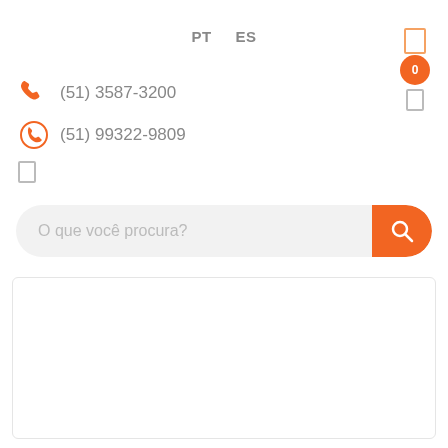PT   ES
(51) 3587-3200
(51) 99322-9809
O que você procura?